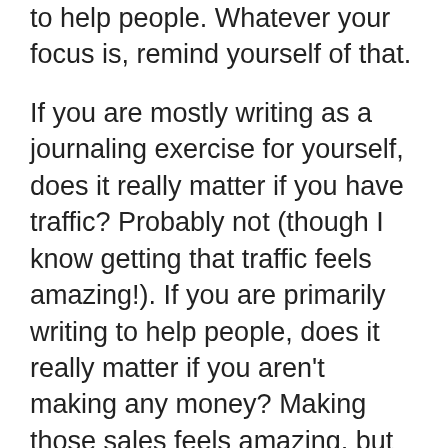to help people. Whatever your focus is, remind yourself of that.
If you are mostly writing as a journaling exercise for yourself, does it really matter if you have traffic? Probably not (though I know getting that traffic feels amazing!). If you are primarily writing to help people, does it really matter if you aren't making any money? Making those sales feels amazing, but it's not necessary if that's not what your primary goal is. And you can't expect to see this type of success if you weren't focusing on it. Sometimes its good to remind yourself of that.